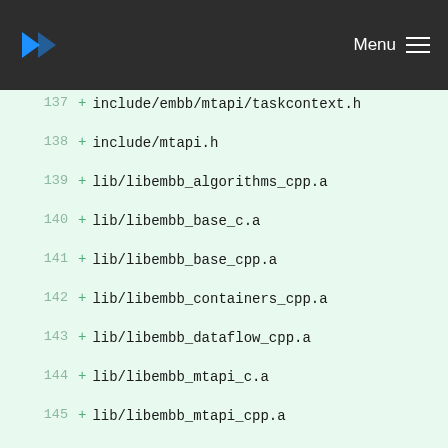Menu
137 + include/embb/mtapi/taskcontext.h
138 + include/mtapi.h
139 + lib/libembb_algorithms_cpp.a
140 + lib/libembb_base_c.a
141 + lib/libembb_base_cpp.a
142 + lib/libembb_containers_cpp.a
143 + lib/libembb_dataflow_cpp.a
144 + lib/libembb_mtapi_c.a
145 + lib/libembb_mtapi_cpp.a
146 + %%EXAMPLES%%%%EXAMPLESDIR%%/algorithms/counting/count-snippet.h
147 + %%EXAMPLES%%%%EXAMPLESDIR%%/algorithms/counting/count_if-snippet.h
148 + %%EXAMPLES%%%%EXAMPLESDIR%%/algorithms/counting/counting-fragmented.cc
149 + %%EXAMPLES%%%%EXAMPLESDIR%%/algorithms/counting/setup-snippet.h
150 + %%EXAMPLES%%%%EXAMPLESDIR%%/algorithms/for_each/doubling-snippet.h
151 + %%EXAMPLES%%%%EXAMPLESDIR%%/algorith